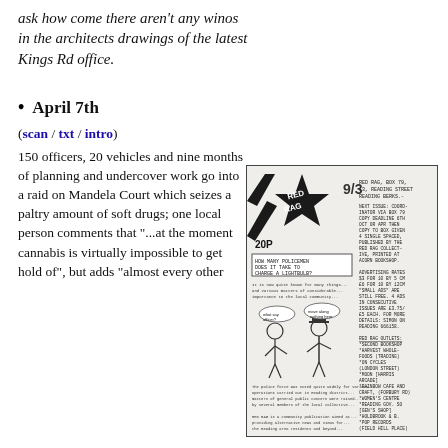ask how come there aren't any winos in the architects drawings of the latest Kings Rd office.
April 7th
(scan / txt / intro)
150 officers, 20 vehicles and nine months of planning and undercover work go into a raid on Mandela Court which seizes a paltry amount of soft drugs; one local person comments that "...at the moment cannabis is virtually impossible to get hold of", but adds "almost every other
[Figure (illustration): Scanned cover/page of Red Rag magazine issue 9/3, priced 20p, showing a star logo with 'RED RAG' text, a cartoon illustration, and small print text columns on the right side.]